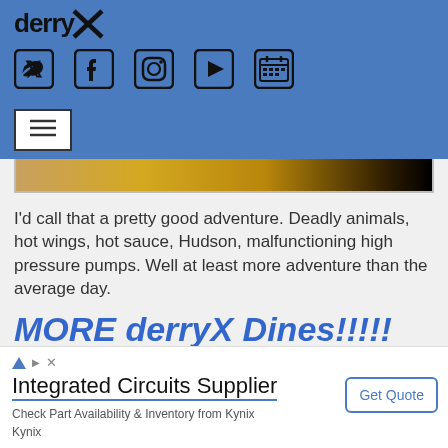derryX
[Figure (screenshot): Social media icons: Twitter, Facebook, Instagram, YouTube/Play, Calendar on blue background]
[Figure (screenshot): Hamburger menu button on blue background]
[Figure (photo): Partial image of food/plate, cropped at top]
I'd call that a pretty good adventure. Deadly animals, hot wings, hot sauce, Hudson, malfunctioning high pressure pumps. Well at least more adventure than the average day.
MORE derryX Dines!!!!!
[Figure (screenshot): Dropdown/collapse button (chevron down)]
Integrated Circuits Supplier
Check Part Availability & Inventory from Kynix
Kynix
Get Quote